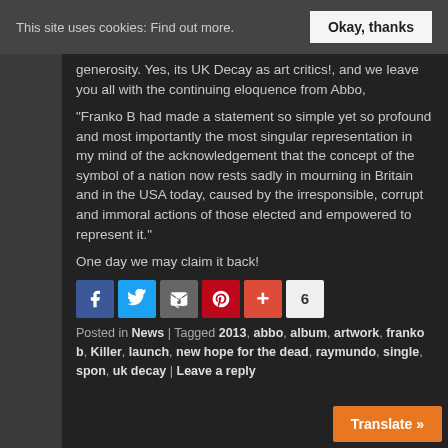This site uses cookies: Find out more. | Okay, thanks
generosity. Yes, its UK Decay as art critics!, and we leave you all with the continuing eloquence from Abbo,
“Franko B had made a statement so simple yet so profound and most importantly the most singular representation in my mind of the acknowledgement that the concept of the symbol of a nation now rests sadly in mourning in Britain and in the USA today, caused by the irresponsible, corrupt and immoral actions of those elected and empowered to represent it.”
One day we may claim it back!
[Figure (infographic): Social sharing icons row: Facebook, Twitter, Email, Pinterest, Google+, and a share count badge showing 6]
Posted in News | Tagged 2013, abbo, album, artwork, franko b, Killer, launch, new hope for the dead, raymundo, single, spon, uk decay | Leave a reply